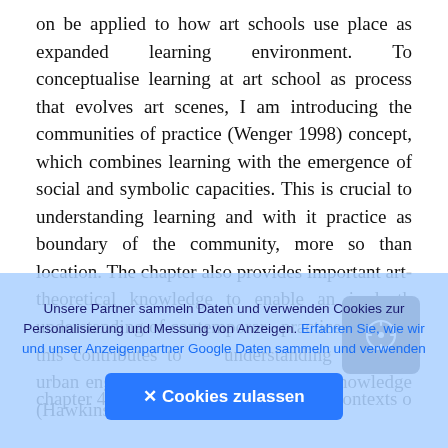on be applied to how art schools use place as expanded learning environment. To conceptualise learning at art school as process that evolves art scenes, I am introducing the communities of practice (Wenger 1998) concept, which combines learning with the emergence of social and symbolic capacities. This is crucial to understanding learning and with it practice as boundary of the community, more so than location. The chapter also provides important art-theoretical knowledge to enable an in-depth understanding of contemporary practice and how this contributes to understanding of art as urban engagements and geographical knowledge (Hawkins 2013). In chapter 4 the urban and cultural policy contexts of
[Figure (screenshot): Dark rounded square UI button with a circular arrow/compass icon in the center, positioned over the main text]
Unsere Partner sammeln Daten und verwenden Cookies zur Personalisierung und Messung von Anzeigen. Erfahren Sie, wie wir und unser Anzeigenpartner Google Daten sammeln und verwenden
✕ Cookies zulassen